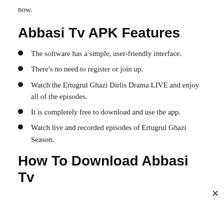now.
Abbasi Tv APK Features
The software has a simple, user-friendly interface.
There’s no need to register or join up.
Watch the Ertugrul Ghazi Dirlis Drama LIVE and enjoy all of the episodes.
It is completely free to download and use the app.
Watch live and recorded episodes of Ertugrul Ghazi Season.
How To Download Abbasi Tv